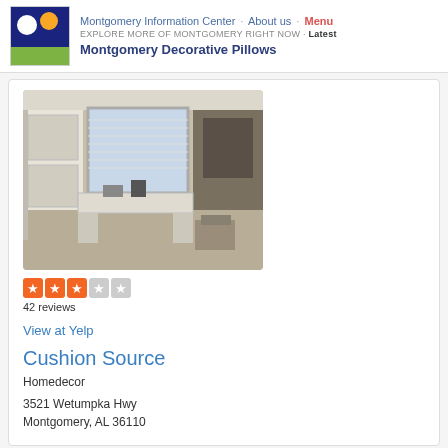Montgomery Information Center · About us · Menu
EXPLORE MORE OF MONTGOMERY RIGHT NOW · Latest
Montgomery Decorative Pillows
[Figure (photo): Interior room photo showing white kitchen/utility room with window, white cabinets, and countertop items]
42 reviews
View at Yelp
Cushion Source
Homedecor
3521 Wetumpka Hwy
Montgomery, AL 36110
Explore More